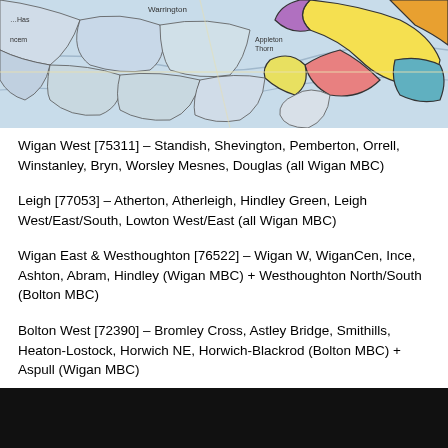[Figure (map): Partial map showing electoral constituency boundaries in the Wigan/Bolton area with coloured regions and place name labels including Warrington, Appleton Thorn, Winstanley, and others.]
Wigan West [75311] – Standish, Shevington, Pemberton, Orrell, Winstanley, Bryn, Worsley Mesnes, Douglas (all Wigan MBC)
Leigh [77053] – Atherton, Atherleigh, Hindley Green, Leigh West/East/South, Lowton West/East (all Wigan MBC)
Wigan East & Westhoughton [76522] – Wigan W, WiganCen, Ince, Ashton, Abram, Hindley (Wigan MBC) + Westhoughton North/South (Bolton MBC)
Bolton West [72390] – Bromley Cross, Astley Bridge, Smithills, Heaton-Lostock, Horwich NE, Horwich-Blackrod (Bolton MBC) + Aspull (Wigan MBC)
Bolton East [75059] – Bradshaw, Breightmet, Tonge, Crompton, Halliwell, Rumworth, Great Lever, Little & Darcy Lever (all Bolton MBC)
Hulton & Walkden [75588] – Hulton, Harper Green, Farnworth, Kearsley (Bolton MBC) + Pendlebury, Walkden North/South, Little Hulton (Salford MBC)